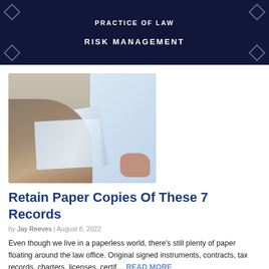PRACTICE OF LAW
RISK MANAGEMENT
[Figure (photo): Person holding blue paper documents or folders, wearing a beige/grey jacket, with another person partially visible in background]
Retain Paper Copies Of These 7 Records
by Jay Reeves | August 8, 2022
Even though we live in a paperless world, there’s still plenty of paper floating around the law office. Original signed instruments, contracts, tax records, charters, licenses, certif… READ MORE
Categories: Risk Management